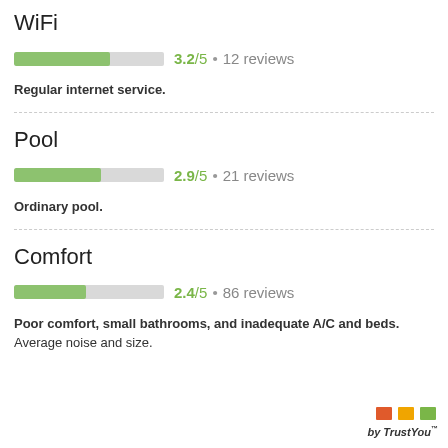WiFi
[Figure (bar-chart): WiFi rating]
Regular internet service.
Pool
[Figure (bar-chart): Pool rating]
Ordinary pool.
Comfort
[Figure (bar-chart): Comfort rating]
Poor comfort, small bathrooms, and inadequate A/C and beds. Average noise and size.
[Figure (logo): TrustYou logo with colored flag icons in red, orange, and green]